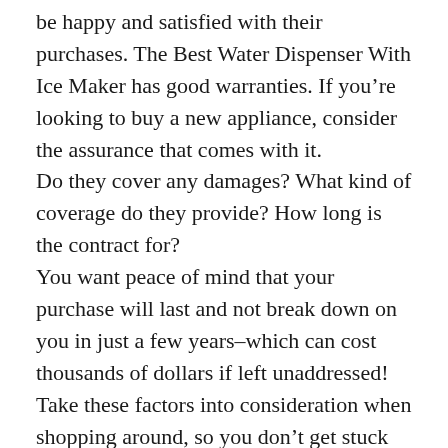be happy and satisfied with their purchases. The Best Water Dispenser With Ice Maker has good warranties. If you’re looking to buy a new appliance, consider the assurance that comes with it.
Do they cover any damages? What kind of coverage do they provide? How long is the contract for?
You want peace of mind that your purchase will last and not break down on you in just a few years–which can cost thousands of dollars if left unaddressed!
Take these factors into consideration when shopping around, so you don’t get stuck with something expensive but useless.